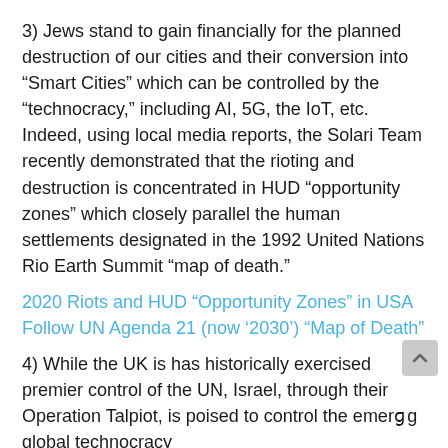3) Jews stand to gain financially for the planned destruction of our cities and their conversion into “Smart Cities” which can be controlled by the “technocracy,” including AI, 5G, the IoT, etc. Indeed, using local media reports, the Solari Team recently demonstrated that the rioting and destruction is concentrated in HUD “opportunity zones” which closely parallel the human settlements designated in the 1992 United Nations Rio Earth Summit “map of death.”
2020 Riots and HUD “Opportunity Zones” in USA Follow UN Agenda 21 (now ‘2030’) “Map of Death”
4) While the UK is has historically exercised premier control of the UN, Israel, through their Operation Talpiot, is poised to control the emerging global technocracy